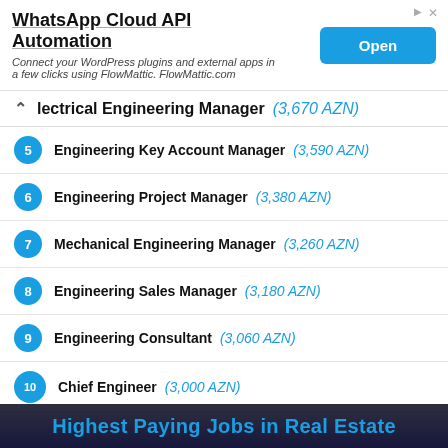[Figure (other): Advertisement banner for WhatsApp Cloud API Automation by FlowMattic with an Open button]
Electrical Engineering Manager (3,670 AZN)
5 Engineering Key Account Manager (3,590 AZN)
6 Engineering Project Manager (3,380 AZN)
7 Mechanical Engineering Manager (3,260 AZN)
8 Engineering Sales Manager (3,180 AZN)
9 Engineering Consultant (3,060 AZN)
10 Chief Engineer (3,000 AZN)
[Figure (other): Bottom advertisement banner: Highest Paying Jobs in Real Estate]